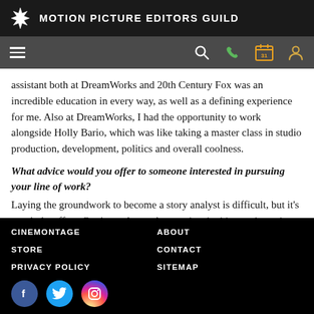MOTION PICTURE EDITORS GUILD
assistant both at DreamWorks and 20th Century Fox was an incredible education in every way, as well as a defining experience for me. Also at DreamWorks, I had the opportunity to work alongside Holly Bario, which was like taking a master class in studio production, development, politics and overall coolness.
What advice would you offer to someone interested in pursuing your line of work?
Laying the groundwork to become a story analyst is difficult, but it's worth the effort. Getting to know the people who hire readers takes time and energy, as does
CINEMONTAGE  ABOUT  STORE  CONTACT  PRIVACY POLICY  SITEMAP